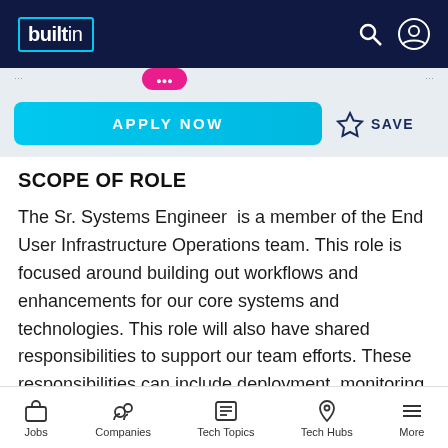builtin
[Figure (screenshot): Apply Now button with cyan background and Save option with star icon]
SCOPE OF ROLE
The Sr. Systems Engineer is a member of the End User Infrastructure Operations team. This role is focused around building out workflows and enhancements for our core systems and technologies. This role will also have shared responsibilities to support our team efforts. These responsibilities can include deployment, monitoring, maintenance, security, development,
Jobs  Companies  Tech Topics  Tech Hubs  More